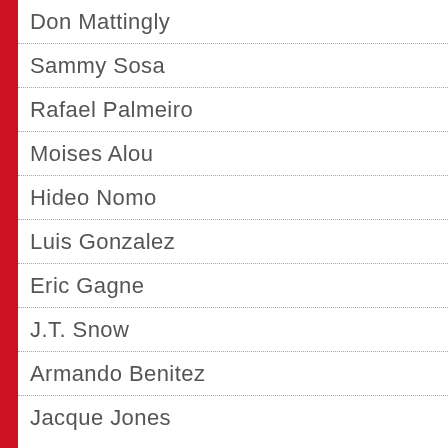Don Mattingly
Sammy Sosa
Rafael Palmeiro
Moises Alou
Hideo Nomo
Luis Gonzalez
Eric Gagne
J.T. Snow
Armando Benitez
Jacque Jones